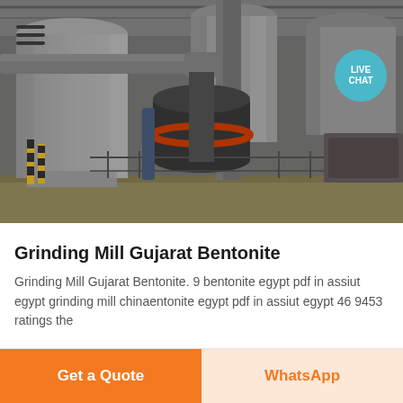[Figure (photo): Industrial grinding mill facility interior showing large metal silos, cyclone separators, pipes, and grinding machinery in a factory building. A hamburger menu icon is visible in the top-left and a 'LIVE CHAT' teal bubble in the top-right.]
Grinding Mill Gujarat Bentonite
Grinding Mill Gujarat Bentonite. 9 bentonite egypt pdf in assiut egypt grinding mill chinaentonite egypt pdf in assiut egypt 46 9453 ratings the …
Get a Quote
WhatsApp